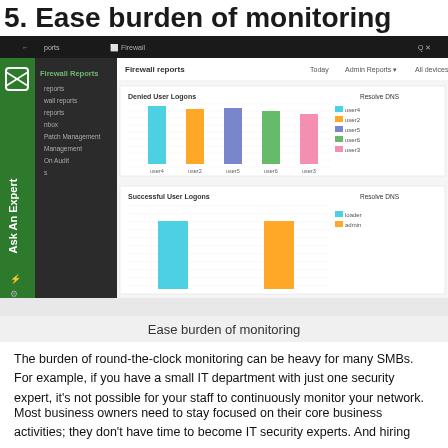5. Ease burden of monitoring
[Figure (screenshot): Screenshot of a firewall reporting dashboard UI showing 'Firewall reports' with two bar charts: 'Denied User Logons' (with colored bars for user4, user2, user5, user6, user3) and 'Successful User Logons' (with bars for loader and admin). Left sidebar shows navigation menu items including Firewall Reports, sub-reports, Inbox, Patch Management, etc. Green 'Ask An Expert' vertical banner on left.]
Ease burden of monitoring
The burden of round-the-clock monitoring can be heavy for many SMBs. For example, if you have a small IT department with just one security expert, it's not possible for your staff to continuously monitor your network.
Most business owners need to stay focused on their core business activities; they don't have time to become IT security experts. And hiring